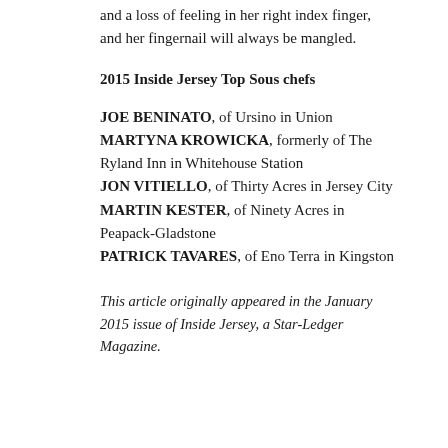and a loss of feeling in her right index finger, and her fingernail will always be mangled.
2015 Inside Jersey Top Sous chefs
JOE BENINATO, of Ursino in Union
MARTYNA KROWICKA, formerly of The Ryland Inn in Whitehouse Station
JON VITIELLO, of Thirty Acres in Jersey City
MARTIN KESTER, of Ninety Acres in Peapack-Gladstone
PATRICK TAVARES, of Eno Terra in Kingston
This article originally appeared in the January 2015 issue of Inside Jersey, a Star-Ledger Magazine.